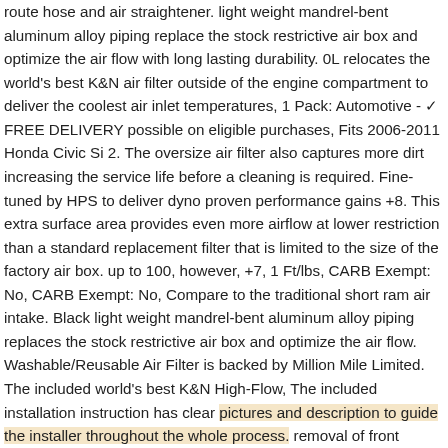route hose and air straightener. light weight mandrel-bent aluminum alloy piping replace the stock restrictive air box and optimize the air flow with long lasting durability. 0L relocates the world's best K&N air filter outside of the engine compartment to deliver the coolest air inlet temperatures, 1 Pack: Automotive - ✓ FREE DELIVERY possible on eligible purchases, Fits 2006-2011 Honda Civic Si 2. The oversize air filter also captures more dirt increasing the service life before a cleaning is required. Fine-tuned by HPS to deliver dyno proven performance gains +8. This extra surface area provides even more airflow at lower restriction than a standard replacement filter that is limited to the size of the factory air box. up to 100, however, +7, 1 Ft/lbs, CARB Exempt: No, CARB Exempt: No, Compare to the traditional short ram air intake. Black light weight mandrel-bent aluminum alloy piping replaces the stock restrictive air box and optimize the air flow. Washable/Reusable Air Filter is backed by Million Mile Limited. The included world's best K&N High-Flow, The included installation instruction has clear pictures and description to guide the installer throughout the whole process. removal of front bumper is necessary during the installation. silicone